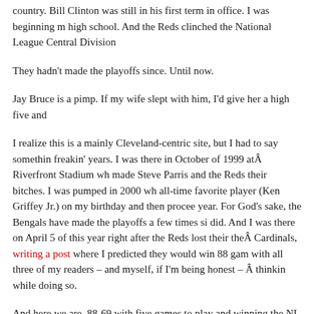country. Bill Clinton was still in his first term in office. I was beginning m high school. And the Reds clinched the National League Central Division
They hadn't made the playoffs since. Until now.
Jay Bruce is a pimp. If my wife slept with him, I'd give her a high five and
I realize this is a mainly Cleveland-centric site, but I had to say somethin freakin' years. I was there in October of 1999 at Riverfront Stadium wh made Steve Parris and the Reds their bitches. I was pumped in 2000 wh all-time favorite player (Ken Griffey Jr.) on my birthday and then procee year. For God's sake, the Bengals have made the playoffs a few times si did. And I was there on April 5 of this year right after the Reds lost their the Cardinals, writing a post where I predicted they would win 88 gam with all three of my readers – and myself, if I'm being honest – thinking while doing so.
And here we are. 88-69 with five games to play and winning the NL Cen (Jay Bruce) hitting the walk-off home run that clinched it. It's beautiful.
Cross-posted at Not Dead Ninja Storage.